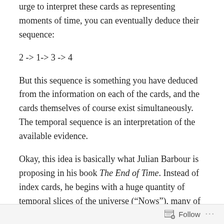urge to interpret these cards as representing moments of time, you can eventually deduce their sequence:
2 -> 1-> 3 -> 4
But this sequence is something you have deduced from the information on each of the cards, and the cards themselves of course exist simultaneously. The temporal sequence is an interpretation of the available evidence.
Okay, this idea is basically what Julian Barbour is proposing in his book The End of Time. Instead of index cards, he begins with a huge quantity of temporal slices of the universe (“Nows”), many of which (“Time Capsules”) contain structures which can be interpreted as implying facts about a temporal sequence. Any structure in which
Follow ...